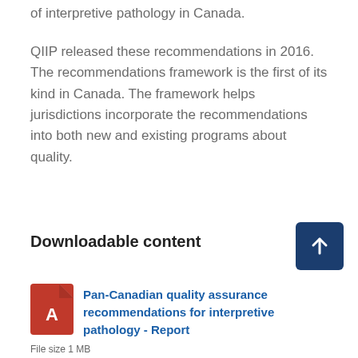of interpretive pathology in Canada.
QIIP released these recommendations in 2016. The recommendations framework is the first of its kind in Canada. The framework helps jurisdictions incorporate the recommendations into both new and existing programs about quality.
Downloadable content
[Figure (other): Dark blue square button with white upward arrow icon]
[Figure (other): Red PDF file icon with Adobe Acrobat logo]
Pan-Canadian quality assurance recommendations for interpretive pathology - Report
File size 1 MB